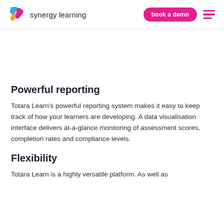[Figure (logo): Synergy Learning logo with colorful S icon and text 'synergy learning']
Powerful reporting
Totara Learn’s powerful reporting system makes it easy to keep track of how your learners are developing. A data visualisation interface delivers at-a-glance monitoring of assessment scores, completion rates and compliance levels.
Flexibility
Totara Learn is a highly versatile platform. As well as